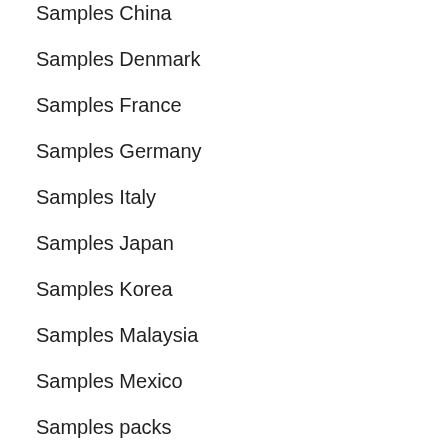Samples China
Samples Denmark
Samples France
Samples Germany
Samples Italy
Samples Japan
Samples Korea
Samples Malaysia
Samples Mexico
Samples packs
Samples South Africa
Samples South America
Samples Spain
Samples Switzerland